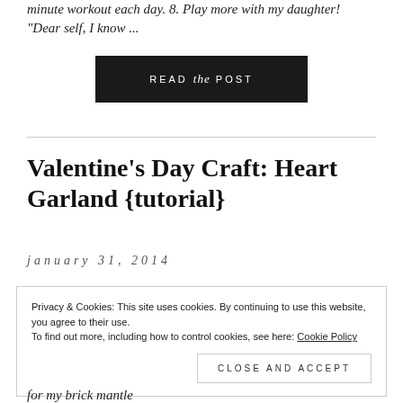minute workout each day. 8. Play more with my daughter! "Dear self, I know ...
READ the POST
Valentine's Day Craft: Heart Garland {tutorial}
january 31, 2014
Privacy & Cookies: This site uses cookies. By continuing to use this website, you agree to their use.
To find out more, including how to control cookies, see here: Cookie Policy
Close and accept
for my brick mantle